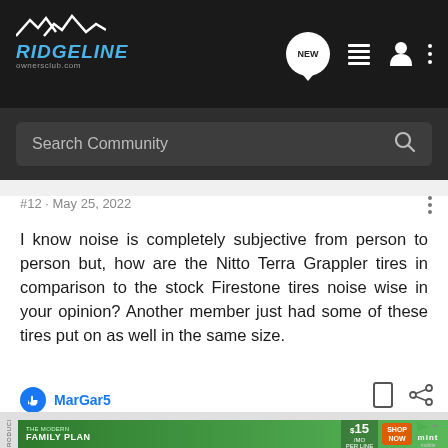[Figure (screenshot): Ridgeline Owners Club navigation header bar with logo, NEW chat bubble, list icon, user icon, and three-dot menu]
Search Community
#12 · May 25, 2022
I know noise is completely subjective from person to person but, how are the Nitto Terra Grappler tires in comparison to the stock Firestone tires noise wise in your opinion? Another member just had some of these tires put on as well in the same size.
MarGar5
[Figure (infographic): Advertisement for Mint Mobile Modern Family Plan: $15/mo per line, Shop Now button]